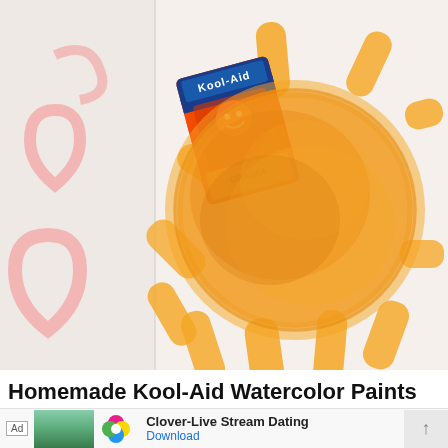[Figure (photo): A child's watercolor painting of a sun made with orange Kool-Aid paint on white paper. The sun has a large orange circular center with radiating streaks/rays around it. A Kool-Aid packet (orange flavor) is visible in the upper left of the image. Pink heart-like shapes are visible along the left edge.]
Homemade Kool-Aid Watercolor Paints
[Figure (screenshot): Advertisement banner at the bottom. Shows 'Ad' label, a woman standing in a park photo, the Clover app logo (four-leaf clover icon with pink, yellow, blue, green petals), text 'Clover-Live Stream Dating', 'Download' link, and an up-arrow button.]